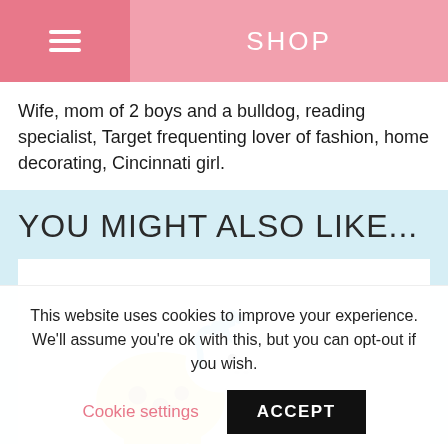SHOP
Wife, mom of 2 boys and a bulldog, reading specialist, Target frequenting lover of fashion, home decorating, Cincinnati girl.
YOU MIGHT ALSO LIKE...
[Figure (photo): Photo of colorful children's toys including a yellow unicorn toy and an orange party blower/whistle against a white background]
This website uses cookies to improve your experience. We'll assume you're ok with this, but you can opt-out if you wish.